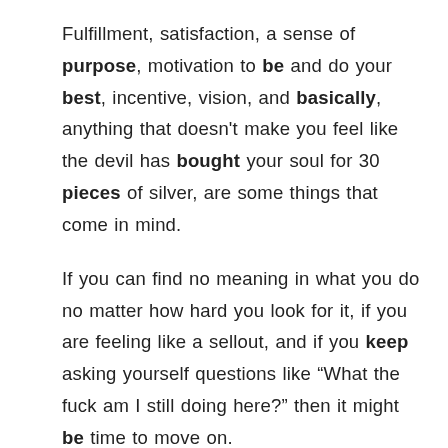Fulfillment, satisfaction, a sense of purpose, motivation to be and do your best, incentive, vision, and basically, anything that doesn't make you feel like the devil has bought your soul for 30 pieces of silver, are some things that come in mind.
If you can find no meaning in what you do no matter how hard you look for it, if you are feeling like a sellout, and if you keep asking yourself questions like “What the fuck am I still doing here?” then it might be time to move on.